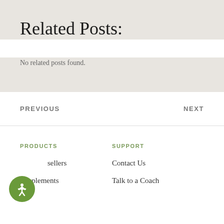Related Posts:
No related related posts found.
PREVIOUS
NEXT
PRODUCTS
SUPPORT
Bestsellers
Supplements
Contact Us
Talk to a Coach